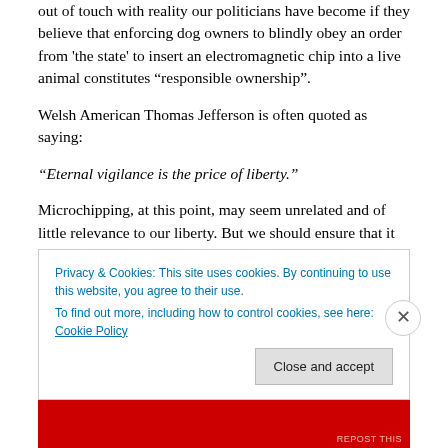out of touch with reality our politicians have become if they believe that enforcing dog owners to blindly obey an order from 'the state' to insert an electromagnetic chip into a live animal constitutes “responsible ownership”.
Welsh American Thomas Jefferson is often quoted as saying:
“Eternal vigilance is the price of liberty.”
Microchipping, at this point, may seem unrelated and of little relevance to our liberty. But we should ensure that it
Privacy & Cookies: This site uses cookies. By continuing to use this website, you agree to their use.
To find out more, including how to control cookies, see here: Cookie Policy
Close and accept